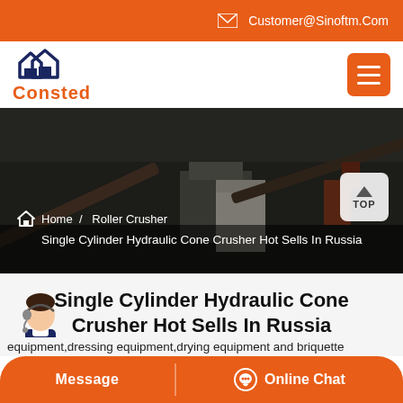Customer@Sinoftm.Com
[Figure (logo): Consted company logo with house icon in dark navy blue and red brand name]
[Figure (photo): Aerial/elevated photo of an industrial construction or mining site with conveyor belts, machinery, and buildings. Dark overlay tint.]
Home / Roller Crusher
Single Cylinder Hydraulic Cone Crusher Hot Sells In Russia
Single Cylinder Hydraulic Cone Crusher Hot Sells In Russia
equipment,dressing equipment,drying equipment and briquette